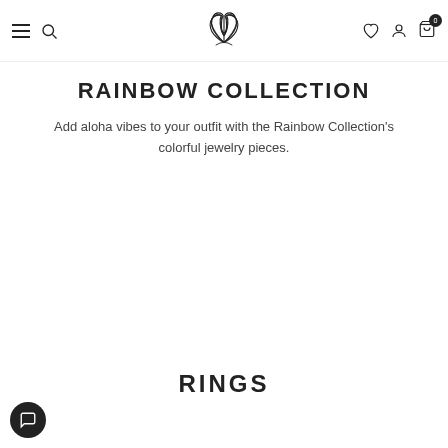Navigation bar with menu, search, lotus logo, heart, profile, and cart (0) icons
RAINBOW COLLECTION
Add aloha vibes to your outfit with the Rainbow Collection's colorful jewelry pieces.
RINGS